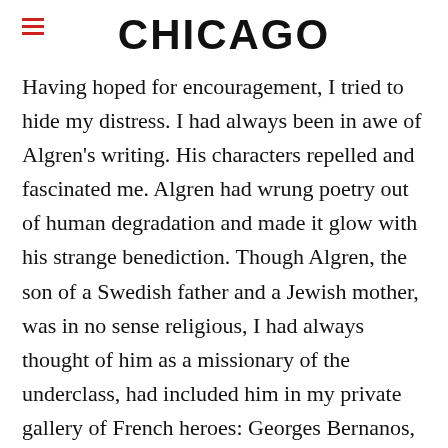CHICAGO
Having hoped for encouragement, I tried to hide my distress. I had always been in awe of Algren’s writing. His characters repelled and fascinated me. Algren had wrung poetry out of human degradation and made it glow with his strange benediction. Though Algren, the son of a Swedish father and a Jewish mother, was in no sense religious, I had always thought of him as a missionary of the underclass, had included him in my private gallery of French heroes: Georges Bernanos, François Mauriac, Jean Genet, Peter Maurin. Sartre and Simone de Beauvoir, the Zeus and Hera of the existential mythos of my college days, had adored this man who was berating the writing profession